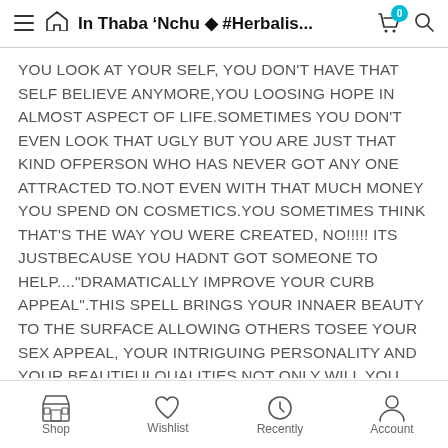In Thaba 'Nchu ◆ #Herbalis...
YOU LOOK AT YOUR SELF, YOU DON'T HAVE THAT SELF BELIEVE ANYMORE,YOU LOOSING HOPE IN ALMOST ASPECT OF LIFE.SOMETIMES YOU DON'T EVEN LOOK THAT UGLY BUT YOU ARE JUST THAT KIND OFPERSON WHO HAS NEVER GOT ANY ONE ATTRACTED TO.NOT EVEN WITH THAT MUCH MONEY YOU SPEND ON COSMETICS.YOU SOMETIMES THINK THAT'S THE WAY YOU WERE CREATED, NO!!!!! ITS JUSTBECAUSE YOU HADNT GOT SOMEONE TO HELP....."DRAMATICALLY IMPROVE YOUR CURB APPEAL".THIS SPELL BRINGS YOUR INNAER BEAUTY TO THE SURFACE ALLOWING OTHERS TOSEE YOUR SEX APPEAL, YOUR INTRIGUING PERSONALITY AND YOUR BEAUTIFULQUALITIES.NOT ONLY WILL YOU FEEL BETTER ABOUT YOURSELF, BUT WHEN STARES ANDCOMPLIMENTS COMES YOUR WAY YOUR SELF
Shop  Wishlist  Recently  Account